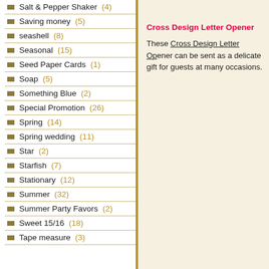Salt & Pepper Shaker (4)
Saving money (5)
seashell (8)
Seasonal (15)
Seed Paper Cards (1)
Soap (5)
Something Blue (2)
Special Promotion (26)
Spring (14)
Spring wedding (11)
Star (2)
Starfish (7)
Stationary (12)
Summer (32)
Summer Party Favors (2)
Sweet 15/16 (18)
Tape measure (3)
Cross Design Letter Opener
These Cross Design Letter Opener can be sent as a delicate gift for guests at many occasions.